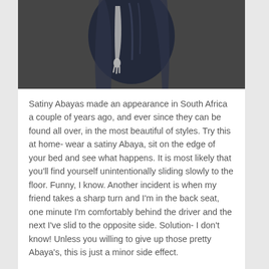[Figure (photo): Top portion of a mannequin wearing a dark navy/black satiny abaya garment, showing the torso and draped fabric against a dark background.]
Satiny Abayas made an appearance in South Africa a couple of years ago, and ever since they can be found all over, in the most beautiful of styles. Try this at home- wear a satiny Abaya, sit on the edge of your bed and see what happens. It is most likely that you'll find yourself unintentionally sliding slowly to the floor. Funny, I know. Another incident is when my friend takes a sharp turn and I'm in the back seat, one minute I'm comfortably behind the driver and the next I've slid to the opposite side. Solution- I don't know! Unless you willing to give up those pretty Abaya's, this is just a minor side effect.
4 :WHUDU CHALLENGE
You're walking in the mall, elegant in your latest Abaya,